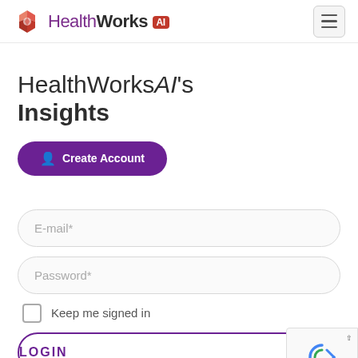HealthWorks AI
HealthWorksAI's Insights
Create Account
E-mail*
Password*
Keep me signed in
LOGIN